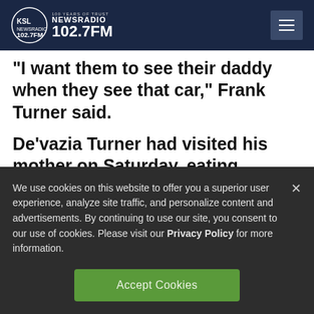KSL NewsRadio 102.7FM
“I want them to see their daddy when they see that car,” Frank Turner said.
De’vazia Turner had visited his mother on Saturday, eating leftover pork chops and taking a shower before briefly falling asleep
We use cookies on this website to offer you a superior user experience, analyze site traffic, and personalize content and advertisements. By continuing to use our site, you consent to our use of cookies. Please visit our Privacy Policy for more information.
Accept Cookies